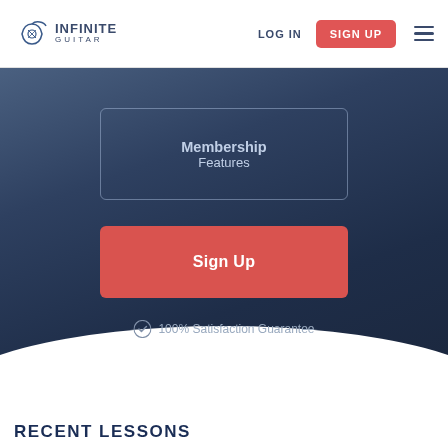[Figure (logo): Infinite Guitar logo with guitar icon and text]
LOG IN
SIGN UP
[Figure (screenshot): Dark blue hero section with Membership Features box, Sign Up button, and 100% Satisfaction Guarantee]
Membership Features
Sign Up
✓ 100% Satisfaction Guarantee
RECENT LESSONS